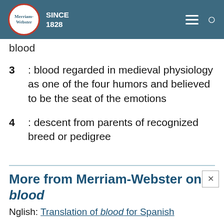Merriam-Webster SINCE 1828
blood
3 : blood regarded in medieval physiology as one of the four humors and believed to be the seat of the emotions
4 : descent from parents of recognized breed or pedigree
More from Merriam-Webster on blood
Nglish: Translation of blood for Spanish